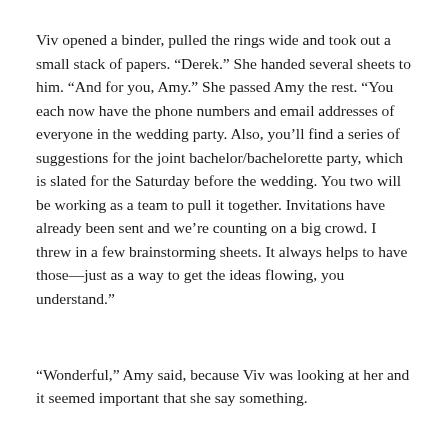Viv opened a binder, pulled the rings wide and took out a small stack of papers. “Derek.” She handed several sheets to him. “And for you, Amy.” She passed Amy the rest. “You each now have the phone numbers and email addresses of everyone in the wedding party. Also, you’ll find a series of suggestions for the joint bachelor/bachelorette party, which is slated for the Saturday before the wedding. You two will be working as a team to pull it together. Invitations have already been sent and we’re counting on a big crowd. I threw in a few brainstorming sheets. It always helps to have those—just as a way to get the ideas flowing, you understand.”
“Wonderful,” Amy said, because Viv was looking at her and it seemed important that she say something.